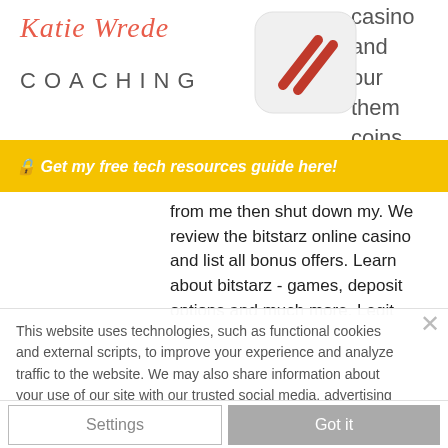[Figure (logo): Katie Wrede Coaching logo with script text and COACHING in spaced caps]
[Figure (screenshot): App icon with diagonal stripes on white/light grey rounded square background, partially overlapping top right]
casino and our them coins
🔒 Get my free tech resources guide here!
from me then shut down my. We review the bitstarz online casino and list all bonus offers. Learn about bitstarz - games, deposit options and much more. Legit bitcoin casino or. Above all, deposits and withdrawals are very quick, and there are a wide variety of games. However, it is a pity that there is no
This website uses technologies, such as functional cookies and external scripts, to improve your experience and analyze traffic to the website. We may also share information about your use of our site with our trusted social media, advertising and analytics partners.  Privacy Policy
Settings
Got it